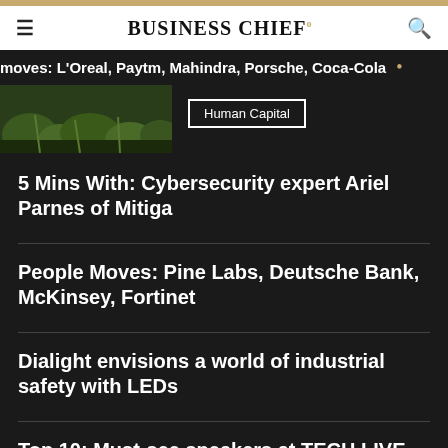BUSINESS CHIEF
moves: L'Oreal, Paytm, Mahindra, Porsche, Coca-Cola
[Figure (photo): Outdoor nature/garden scene with green ferns and plants]
Human Capital
5 Mins With: Cybersecurity expert Ariel Parnes of Mitiga
People Moves: Pine Labs, Deutsche Bank, McKinsey, Fortinet
Dialight envisions a world of industrial safety with LEDs
Top 10: Must-see speakers at TECH LIVE LONDON 2022 event